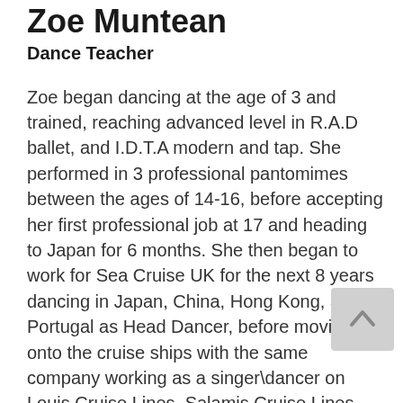Zoe Muntean
Dance Teacher
Zoe began dancing at the age of 3 and trained, reaching advanced level in R.A.D ballet, and I.D.T.A modern and tap. She performed in 3 professional pantomimes between the ages of 14-16, before accepting her first professional job at 17 and heading to Japan for 6 months. She then began to work for Sea Cruise UK for the next 8 years dancing in Japan, China, Hong Kong, and Portugal as Head Dancer, before moving onto the cruise ships with the same company working as a singer\dancer on Louis Cruise Lines, Salamis Cruise Lines and Club Cruises. In 2004, after meeting her musician husband John, she made the move to vocalist and joined his band. For the next 8 years, they worked for the majority of the major Cruise Lines, including Disney, Carnival, Royal